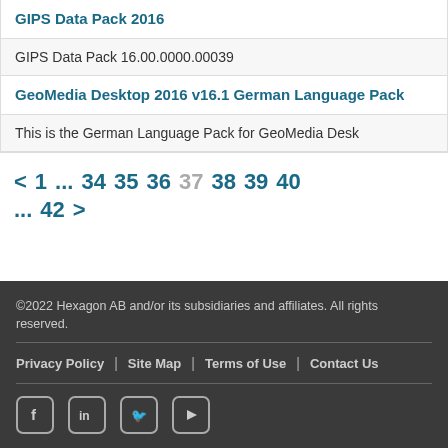| GIPS Data Pack 2016 |
| GIPS Data Pack 16.00.0000.00039 |
| GeoMedia Desktop 2016 v16.1 German Language Pack |
| This is the German Language Pack for GeoMedia Desk |
< 1 ... 34 35 36 37 38 39 40 ... 42 >
©2022 Hexagon AB and/or its subsidiaries and affiliates. All rights reserved.
Privacy Policy | Site Map | Terms of Use | Contact Us